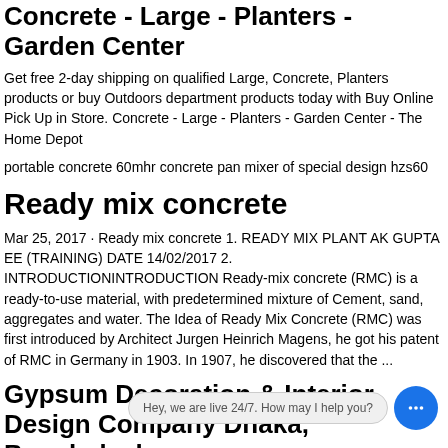Concrete - Large - Planters - Garden Center
Get free 2-day shipping on qualified Large, Concrete, Planters products or buy Outdoors department products today with Buy Online Pick Up in Store. Concrete - Large - Planters - Garden Center - The Home Depot
portable concrete 60mhr concrete pan mixer of special design hzs60
Ready mix concrete
Mar 25, 2017 · Ready mix concrete 1. READY MIX PLANT AK GUPTA EE (TRAINING) DATE 14/02/2017 2. INTRODUCTIONINTRODUCTION Ready-mix concrete (RMC) is a ready-to-use material, with predetermined mixture of Cement, sand, aggregates and water. The Idea of Ready Mix Concrete (RMC) was first introduced by Architect Jurgen Heinrich Magens, he got his patent of RMC in Germany in 1903. In 1907, he discovered that the ...
Gypsum Decoration & Interior Design Company Dhaka, Bangladesh
Gypsum TV Design. Nova Gypsum Decoration is the best Gyps... all unit TV design company in Dhaka, Bangladesh. As a gypsum decoration